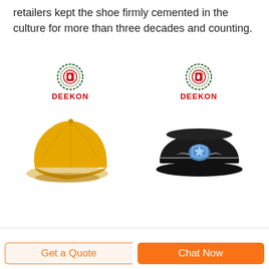retailers kept the shoe firmly cemented in the culture for more than three decades and counting.
[Figure (photo): Yellow baseball cap product photo with DEEKON logo above it]
[Figure (photo): Black military/police cap with badge product photo with DEEKON logo above it]
Get a Quote
Chat Now